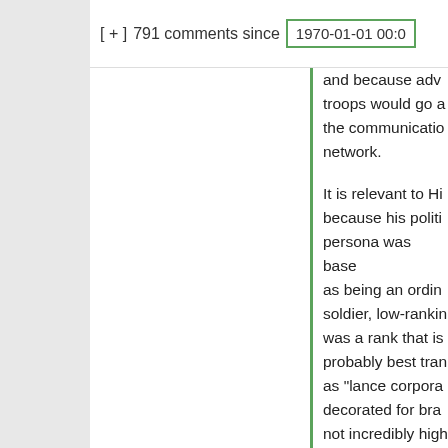[ + ] 791 comments since 1970-01-01 00:0
and because adv troops would go a the communicatio network.
It is relevant to Hi because his politi persona was base as being an ordin soldier, low-rankin was a rank that is probably best tran as "lance corpora decorated for bra not incredibly high Iron Cross first cla a lesser decoratio the VC or the Me